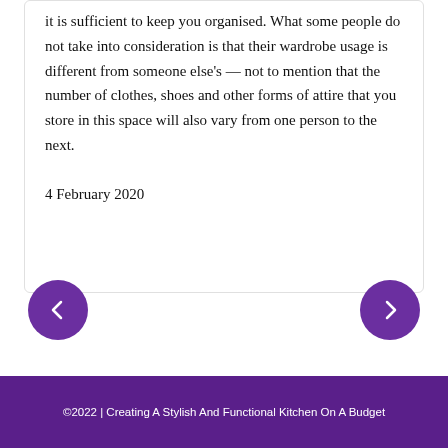it is sufficient to keep you organised. What some people do not take into consideration is that their wardrobe usage is different from someone else's — not to mention that the number of clothes, shoes and other forms of attire that you store in this space will also vary from one person to the next.
4 February 2020
[Figure (other): Left navigation arrow button (purple circle with left arrow)]
[Figure (other): Right navigation arrow button (purple circle with right arrow)]
©2022 | Creating A Stylish And Functional Kitchen On A Budget